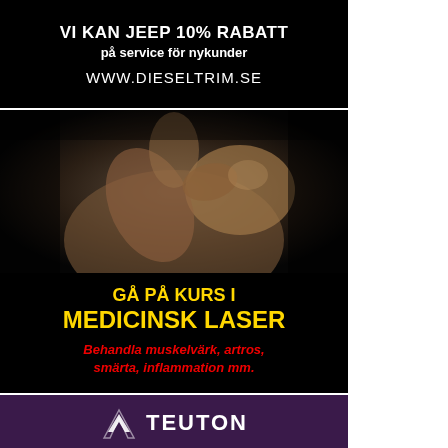[Figure (infographic): Black background ad for Dieseltrim. Text: VI KAN JEEP 10% RABATT på service för nykunder WWW.DIESELTRIM.SE]
[Figure (photo): Black background medical laser course ad. Shows a shirtless person touching their shoulder (dark dramatic photo). Text in yellow: GÅ PÅ KURS I MEDICINSK LASER. Text in red italic: Behandla muskelvärk, artros, smärta, inflammation mm.]
[Figure (logo): Purple/dark background ad showing Teuton logo with geometric chevron icon and TEUTON text in white.]